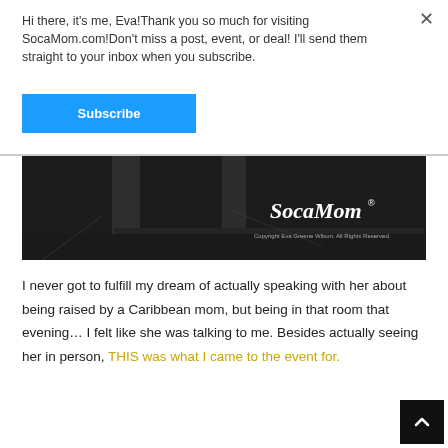Hi there, it's me, Eva!Thank you so much for visiting SocaMom.com!Don't miss a post, event, or deal! I'll send them straight to your inbox when you subscribe.
Subscribe
[Figure (photo): Dark nighttime photo of a stage or event floor with columns/pillars. SocaMom watermark logo visible in bottom right. Copyright Eva Greene Wilson. All Rights Reserved.]
I never got to fulfill my dream of actually speaking with her about being raised by a Caribbean mom, but being in that room that evening… I felt like she was talking to me. Besides actually seeing her in person, THIS was what I came to the event for.